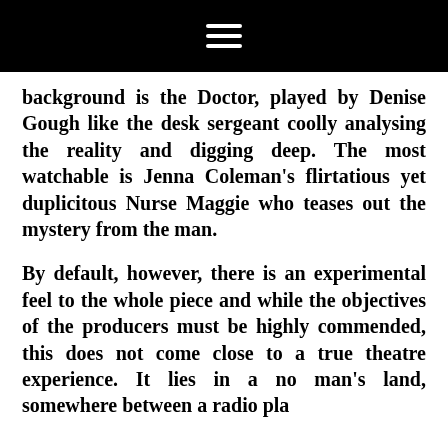☰
background is the Doctor, played by Denise Gough like the desk sergeant coolly analysing the reality and digging deep. The most watchable is Jenna Coleman's flirtatious yet duplicitous Nurse Maggie who teases out the mystery from the man.
By default, however, there is an experimental feel to the whole piece and while the objectives of the producers must be highly commended, this does not come close to a true theatre experience. It lies in a no man's land, somewhere between a radio play